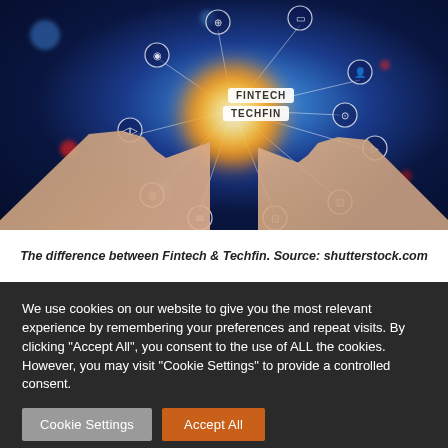[Figure (photo): Two hands reaching toward a glowing digital globe with connected icons for location, mobile, laptop, person, audio, video, email, cart, etc. Labels 'FINTECH' and 'TECHFIN' appear on the globe. Dark blue bokeh background with red and blue light spots.]
The difference between Fintech & Techfin. Source: shutterstock.com
We use cookies on our website to give you the most relevant experience by remembering your preferences and repeat visits. By clicking "Accept All", you consent to the use of ALL the cookies. However, you may visit "Cookie Settings" to provide a controlled consent.